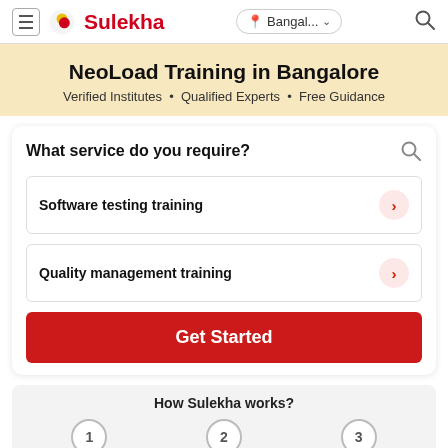≡ Sulekha  Bangal... ∨  🔍
NeoLoad Training in Bangalore
Verified Institutes • Qualified Experts • Free Guidance
What service do you require?
Software testing training
Quality management training
Get Started
How Sulekha works?
1  2  3